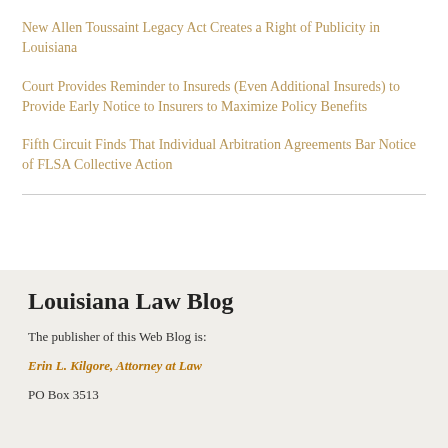New Allen Toussaint Legacy Act Creates a Right of Publicity in Louisiana
Court Provides Reminder to Insureds (Even Additional Insureds) to Provide Early Notice to Insurers to Maximize Policy Benefits
Fifth Circuit Finds That Individual Arbitration Agreements Bar Notice of FLSA Collective Action
Louisiana Law Blog
The publisher of this Web Blog is:
Erin L. Kilgore, Attorney at Law
PO Box 3513